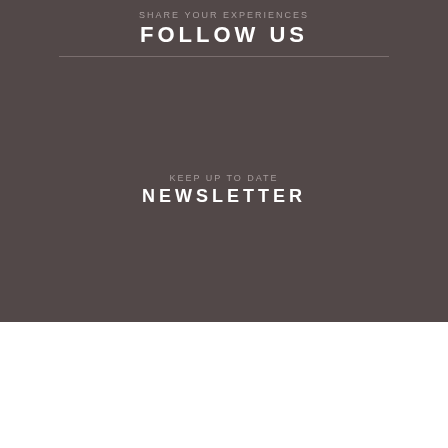SHARE YOUR EXPERIENCES
FOLLOW US
KEEP UP TO DATE
NEWSLETTER